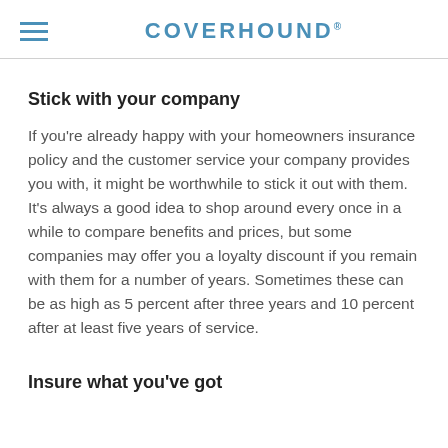COVERHOUND
Stick with your company
If you're already happy with your homeowners insurance policy and the customer service your company provides you with, it might be worthwhile to stick it out with them. It's always a good idea to shop around every once in a while to compare benefits and prices, but some companies may offer you a loyalty discount if you remain with them for a number of years. Sometimes these can be as high as 5 percent after three years and 10 percent after at least five years of service.
Insure what you've got